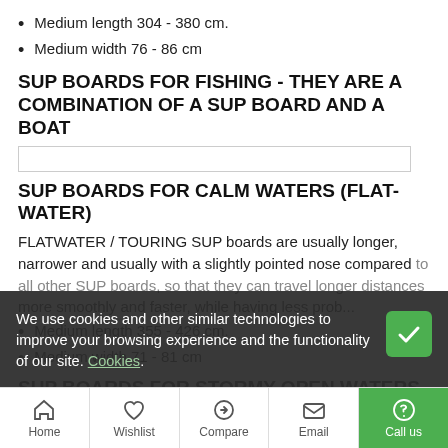Medium length 304 - 380 cm.
Medium width 76 - 86 cm
SUP BOARDS FOR FISHING - THEY ARE A COMBINATION OF A SUP BOARD AND A BOAT
SUP BOARDS FOR CALM WATERS (FLAT-WATER)
FLATWATER / TOURING SUP boards are usually longer, narrower and usually with a slightly pointed nose compared to all other SUP boards, so that they can travel longer distances more smoothly and faster, while having less prob...
Medium length 355 - 426 cm.
Medium width 71 - 81 cm
SUP BOARDS FOR STORMY OPEN WATERS (OCEAN)
We use cookies and other similar technologies to improve your browsing experience and the functionality of our site. Cookies.